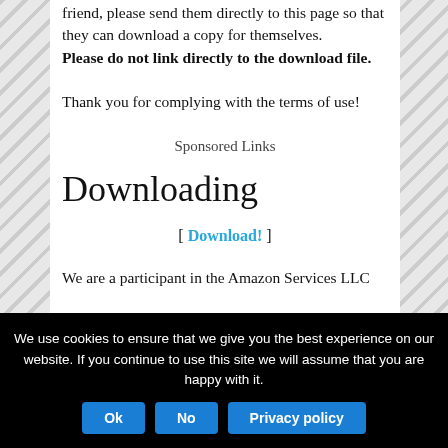friend, please send them directly to this page so that they can download a copy for themselves. Please do not link directly to the download file.
Thank you for complying with the terms of use!
Sponsored Links
Downloading
[ Download! ]
We are a participant in the Amazon Services LLC
We use cookies to ensure that we give you the best experience on our website. If you continue to use this site we will assume that you are happy with it.